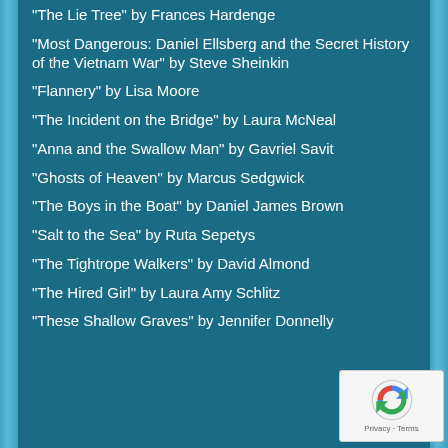“The Lie Tree” by Frances Hardenge
“Most Dangerous: Daniel Ellsberg and the Secret History of the Vietnam War” by Steve Sheinkin
“Flannery” by Lisa Moore
“The Incident on the Bridge” by Laura McNeal
“Anna and the Swallow Man” by Gavriel Savit
“Ghosts of Heaven” by Marcus Sedgwick
“The Boys in the Boat” by Daniel James Brown
“Salt to the Sea” by Ruta Sepetys
“The Tightrope Walkers” by David Almond
“The Hired Girl” by Laura Amy Schlitz
“These Shallow Graves” by Jennifer Donnelly